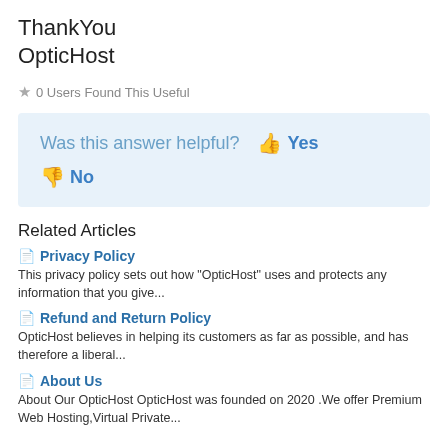ThankYou
OpticHost
★ 0 Users Found This Useful
Was this answer helpful?  👍 Yes
👎 No
Related Articles
Privacy Policy
This privacy policy sets out how "OpticHost" uses and protects any information that you give...
Refund and Return Policy
OpticHost believes in helping its customers as far as possible, and has therefore a liberal...
About Us
About Our OpticHost OpticHost was founded on 2020 .We offer Premium Web Hosting,Virtual Private...